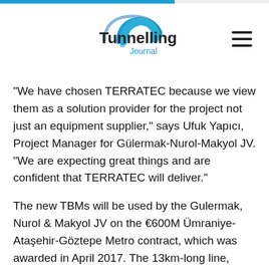Tunnelling Journal
“We have chosen TERRATEC because we view them as a solution provider for the project not just an equipment supplier,” says Ufuk Yapıcı, Project Manager for Gülermak-Nurol-Makyol JV. “We are expecting great things and are confident that TERRATEC will deliver.”
The new TBMs will be used by the Gulermak, Nurol & Makyol JV on the €600M Ümraniye-Ataşehir-Göztepe Metro contract, which was awarded in April 2017. The 13km-long line, along with 11 new stations and NATM-built connections, will form a